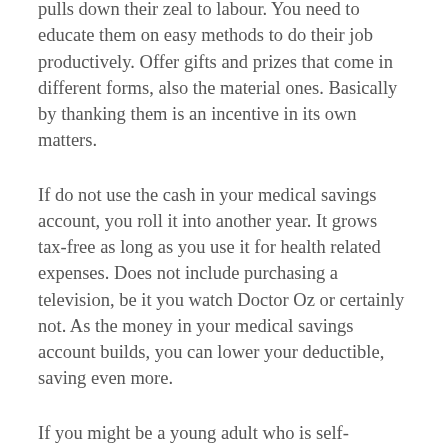pulls down their zeal to labour. You need to educate them on easy methods to do their job productively. Offer gifts and prizes that come in different forms, also the material ones. Basically by thanking them is an incentive in its own matters.
If do not use the cash in your medical savings account, you roll it into another year. It grows tax-free as long as you use it for health related expenses. Does not include purchasing a television, be it you watch Doctor Oz or certainly not. As the money in your medical savings account builds, you can lower your deductible, saving even more.
If you might be a young adult who is self-employed, your best bet may be one from the young adult plans insurance plan companies provide. These are usually the cheapest health coverage types will be the major. Of course, the low